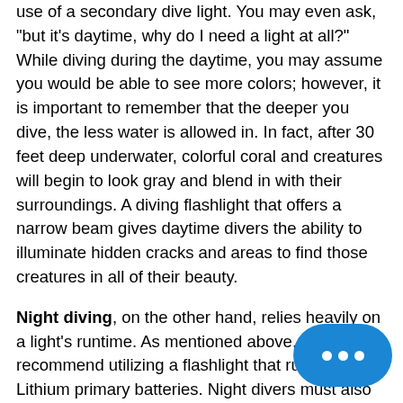use of a secondary dive light. You may even ask, "but it's daytime, why do I need a light at all?" While diving during the daytime, you may assume you would be able to see more colors; however, it is important to remember that the deeper you dive, the less water is allowed in. In fact, after 30 feet deep underwater, colorful coral and creatures will begin to look gray and blend in with their surroundings. A diving flashlight that offers a narrow beam gives daytime divers the ability to illuminate hidden cracks and areas to find those creatures in all of their beauty.
Night diving, on the other hand, relies heavily on a light's runtime. As mentioned above, we recommend utilizing a flashlight that runs on Lithium primary batteries. Night divers must also consider beam throw. A broader beam is best for illuminating a larger area, thus making your adventure easier and safer. We suggest using a broad beam diving flashlight as your primary source of illumination, carrying a secondary dive light with a narrow beam for illuminating dark corners or crevices. When it